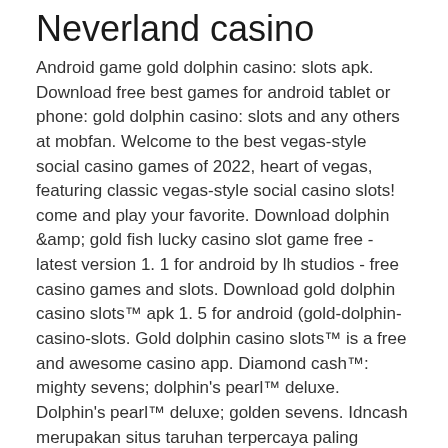Neverland casino
Android game gold dolphin casino: slots apk. Download free best games for android tablet or phone: gold dolphin casino: slots and any others at mobfan. Welcome to the best vegas-style social casino games of 2022, heart of vegas, featuring classic vegas-style social casino slots! come and play your favorite. Download dolphin &amp; gold fish lucky casino slot game free - latest version 1. 1 for android by lh studios - free casino games and slots. Download gold dolphin casino slots™ apk 1. 5 for android (gold-dolphin-casino-slots. Gold dolphin casino slots™ is a free and awesome casino app. Diamond cash™: mighty sevens; dolphin's pearl™ deluxe. Dolphin's pearl™ deluxe; golden sevens. Idncash merupakan situs taruhan terpercaya paling lengkap yang menyajikan banyak game seru seperti sportbook, slots, idnlive, live casino, tangkas dan 2 lebih lagi atau slot™ 4. 8 i...